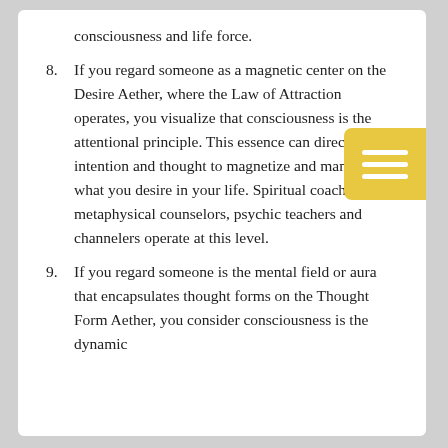consciousness and life force.
8. If you regard someone as a magnetic center on the Desire Aether, where the Law of Attraction operates, you visualize that consciousness is the attentional principle. This essence can direct intention and thought to magnetize and manifest what you desire in your life. Spiritual coaches, metaphysical counselors, psychic teachers and channelers operate at this level.
9. If you regard someone is the mental field or aura that encapsulates thought forms on the Thought Form Aether, you consider consciousness is the dynamic